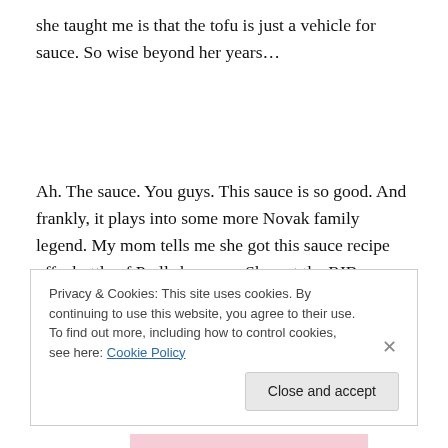she taught me is that the tofu is just a vehicle for sauce. So wise beyond her years…
Ah. The sauce. You guys. This sauce is so good. And frankly, it plays into some more Novak family legend. My mom tells me she got this sauce recipe off a bottle of Prell shampoo. She got the RIB SAUCE RECIPE off a BOTTLE OF SHAMPOO. I've tried Googling to verify, but to no
Privacy & Cookies: This site uses cookies. By continuing to use this website, you agree to their use.
To find out more, including how to control cookies, see here: Cookie Policy